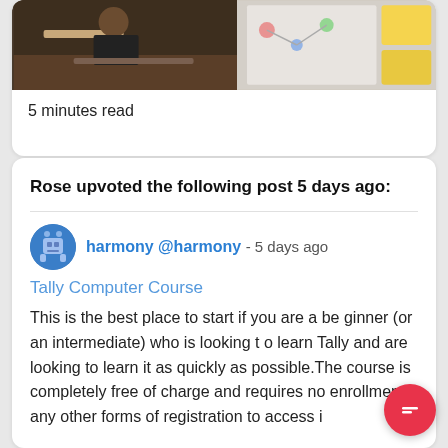[Figure (photo): Two people in a workshop/office setting — one at a desk with a laptop and the other at a whiteboard with sticky notes]
5 minutes read
Rose upvoted the following post 5 days ago:
harmony @harmony - 5 days ago
Tally Computer Course
This is the best place to start if you are a beginner (or an intermediate) who is looking to learn Tally and are looking to learn it as quickly as possible.The course is completely free of charge and requires no enrollment or any other forms of registration to access i